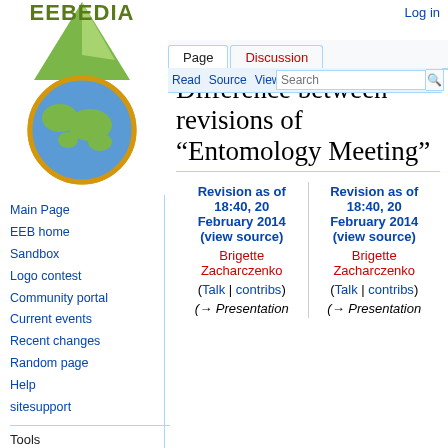Log in
[Figure (logo): EEBEDIA wiki logo with globe and green leaf motif]
Page | Discussion | Read | Source | View history | More | Search
Difference between revisions of "Entomology Meeting"
Main Page
EEB home
Sandbox
Logo contest
Community portal
Current events
Recent changes
Random page
Help
sitesupport
Tools
What links here
Related changes
| Revision as of 18:40, 20 February 2014 (view source) | Revision as of 18:40, 20 February 2014 (view source) |
| --- | --- |
| Brigette Zacharczenko (Talk | contribs) | Brigette Zacharczenko (Talk | contribs) |
| (→ Presentation | (→ Presentation |